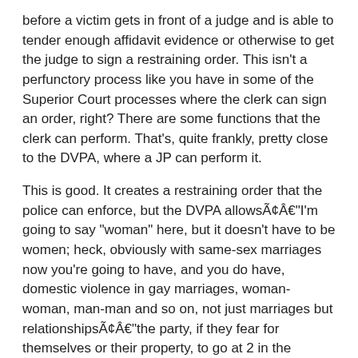before a victim gets in front of a judge and is able to tender enough affidavit evidence or otherwise to get the judge to sign a restraining order. This isn't a perfunctory process like you have in some of the Superior Court processes where the clerk can sign an order, right? There are some functions that the clerk can perform. That's, quite frankly, pretty close to the DVPA, where a JP can perform it.
This is good. It creates a restraining order that the police can enforce, but the DVPA allowsÃ¢Â€"I'm going to say "woman" here, but it doesn't have to be women; heck, obviously with same-sex marriages now you're going to have, and you do have, domestic violence in gay marriages, woman-woman, man-man and so on, not just marriages but relationshipsÃ¢Â€"the party, if they fear for themselves or their property, to go at 2 in the morning to the JP on duty and say, " I fear that so-and-so is out there." Look, "I fear" is a far different cry than "I know."
1500